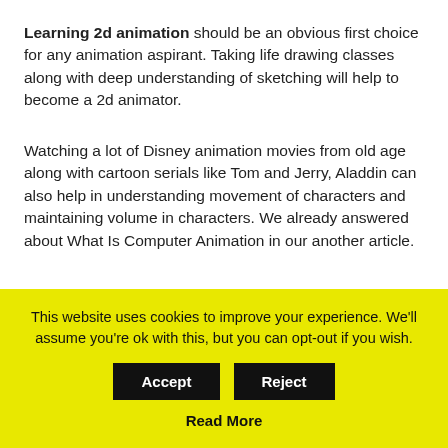Learning 2d animation should be an obvious first choice for any animation aspirant. Taking life drawing classes along with deep understanding of sketching will help to become a 2d animator.
Watching a lot of Disney animation movies from old age along with cartoon serials like Tom and Jerry, Aladdin can also help in understanding movement of characters and maintaining volume in characters. We already answered about What Is Computer Animation in our another article.
This website uses cookies to improve your experience. We'll assume you're ok with this, but you can opt-out if you wish.
Accept
Reject
Read More